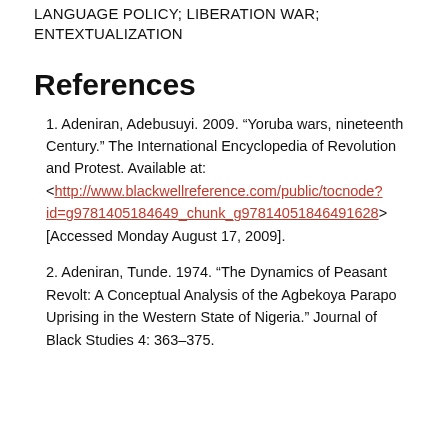LANGUAGE POLICY; LIBERATION WAR; ENTEXTUALIZATION
References
1. Adeniran, Adebusuyi. 2009. “Yoruba wars, nineteenth Century.” The International Encyclopedia of Revolution and Protest. Available at: <http://www.blackwellreference.com/public/tocnode?id=g9781405184649_chunk_g97814051846491628> [Accessed Monday August 17, 2009].
2. Adeniran, Tunde. 1974. “The Dynamics of Peasant Revolt: A Conceptual Analysis of the Agbekoya Parapo Uprising in the Western State of Nigeria.” Journal of Black Studies 4: 363–375.